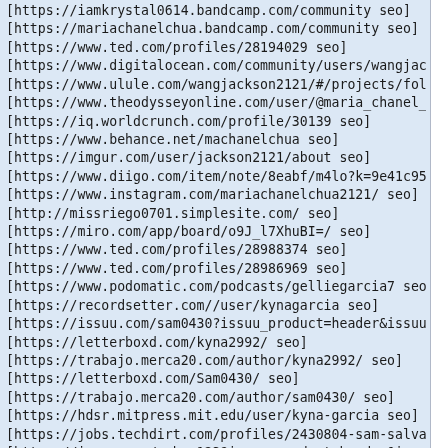[https://iamkrystal0614.bandcamp.com/community seo]
[https://mariachanelchua.bandcamp.com/community seo]
[https://www.ted.com/profiles/28194029 seo]
[https://www.digitalocean.com/community/users/wangjackson21...
[https://www.ulule.com/wangjackson2121/#/projects/followed...
[https://www.theodysseyonline.com/user/@maria_chanel_chua s...
[https://iq.worldcrunch.com/profile/30139 seo]
[https://www.behance.net/machanelchua seo]
[https://imgur.com/user/jackson2121/about seo]
[https://www.diigo.com/item/note/8eabf/m4lo?k=9e41c952bfaf9...
[https://www.instagram.com/mariachanelchua2121/ seo]
[http://missriego0701.simplesite.com/ seo]
[https://miro.com/app/board/o9J_l7XhuBI=/ seo]
[https://www.ted.com/profiles/28988374 seo]
[https://www.ted.com/profiles/28986969 seo]
[https://www.podomatic.com/podcasts/gelliegarcia7 seo]
[https://recordsetter.com//user/kynagarcia seo]
[https://issuu.com/sam0430?issuu_product=header&issuu_subpr...
[https://letterboxd.com/kyna2992/ seo]
[https://trabajo.merca20.com/author/kyna2992/ seo]
[https://letterboxd.com/Sam0430/ seo]
[https://trabajo.merca20.com/author/sam0430/ seo]
[https://hdsr.mitpress.mit.edu/user/kyna-garcia seo]
[https://jobs.techdirt.com/profiles/2430804-sam-salvador se...
[https://issuu.com/mnbvc123?issuu_product=header&issuu_subp...
[https://abriom.contently.com/ seo]
[https://www.lonelyplanet.com/profile/gelliegarcia7580996 s...
[https://dribbble.com/angel1999 seo]
[https://gamerghorl.enjin.com/profile/20812048 seo]
[https://hdsr.mitpress.mit.edu/user/angel-jane seo]